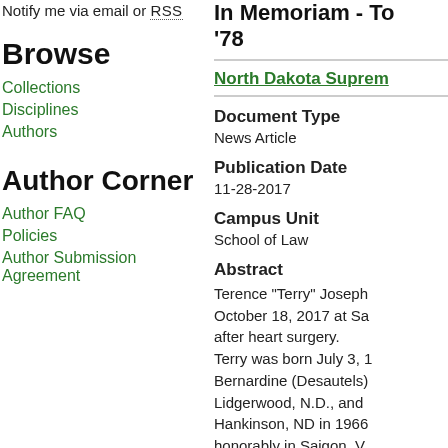Notify me via email or RSS
Browse
Collections
Disciplines
Authors
Author Corner
Author FAQ
Policies
Author Submission Agreement
In Memoriam - To '78
North Dakota Suprem...
Document Type
News Article
Publication Date
11-28-2017
Campus Unit
School of Law
Abstract
Terence "Terry" Joseph... October 18, 2017 at Sa... after heart surgery.
Terry was born July 3, 1... Bernardine (Desautels)... Lidgerwood, N.D., and... Hankinson, ND in 1966... honorably in Saigon, V... reconnaissance photo...